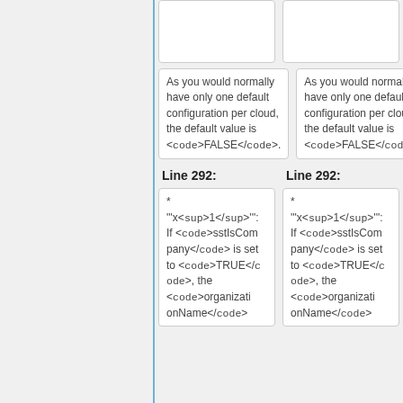As you would normally have only one default configuration per cloud, the default value is <code>FALSE</code>.
As you would normally have only one default configuration per cloud, the default value is <code>FALSE</code>.
Line 292:
Line 292:
* '''x<sup>1</sup>''': If <code>sstIsCompany</code> is set to <code>TRUE</code>, the <code>organizationName</code>
* '''x<sup>1</sup>''': If <code>sstIsCompany</code> is set to <code>TRUE</code>, the <code>organizationName</code>